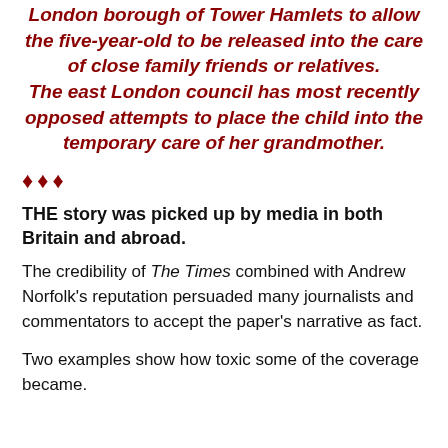London borough of Tower Hamlets to allow the five-year-old to be released into the care of close family friends or relatives. The east London council has most recently opposed attempts to place the child into the temporary care of her grandmother.
♦♦♦
THE story was picked up by media in both Britain and abroad.
The credibility of The Times combined with Andrew Norfolk's reputation persuaded many journalists and commentators to accept the paper's narrative as fact.
Two examples show how toxic some of the coverage became.